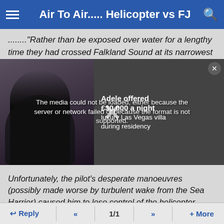Air To Air..... Helicopter vs FJ
........"Rather than be exposed over water for a lengthy time they had crossed Falkland Sound at its narrowest
[Figure (screenshot): Video player overlay showing a media load error message. Left side shows a dark image of a person in black. Right side shows text: 'Adele offered £30,000 a night luxury Las Vegas villa during residency'. Center shows error: 'The media could not be loaded, either because the server or network failed or because the format is not supported.' An X close button appears top right and a large X mark in center.]
Unfortunately, the pilot's desperate manoeuvres (possibly made worse by turbulent wake from the Sea Harrier) caused him to lose control of the helicopter, which then crash landed on a hillside. Fortunately, the crew had just enough time to scramble clear before it caught fire and exploded."

The A-109 and a second Puma were destroyed y cannon fire on the ground, the last escaped.
Reply  «  1/1  »  + More